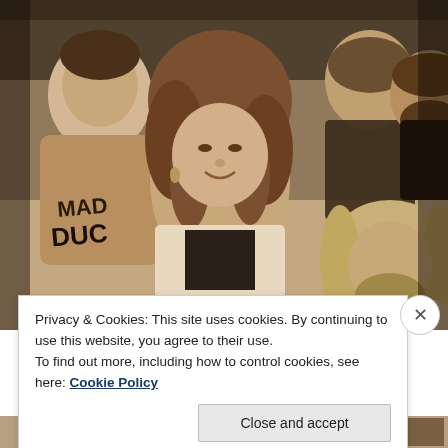[Figure (photo): Vintage sepia-toned black and white group photo showing five people: a man on the left wearing a 'Mad Duck' t-shirt, a woman with curly hair in the center wearing a white jacket, two men in the back row, and a man with long hair in the lower right. Casual social setting, likely 1980s era.]
Privacy & Cookies: This site uses cookies. By continuing to use this website, you agree to their use.
To find out more, including how to control cookies, see here: Cookie Policy
Close and accept